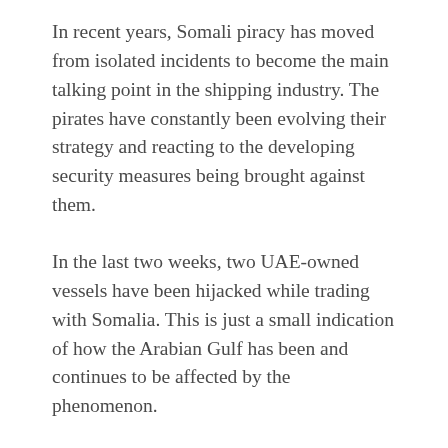In recent years, Somali piracy has moved from isolated incidents to become the main talking point in the shipping industry. The pirates have constantly been evolving their strategy and reacting to the developing security measures being brought against them.
In the last two weeks, two UAE-owned vessels have been hijacked while trading with Somalia. This is just a small indication of how the Arabian Gulf has been and continues to be affected by the phenomenon.
Piracy is in no way limited to the shores of Somalia and the Indian Ocean. Piracy and armed robbery at sea is a global phenomenon. Hijacking vessels is not a unique tactic of Somali gangs; West African pirates target small tankers to offload their cargo and occasionally members of the crew. Some South-East Asian criminal gangs target barge-towing tugs for their value on the international market. But Somali piracy has seen the highest-profile hijacking